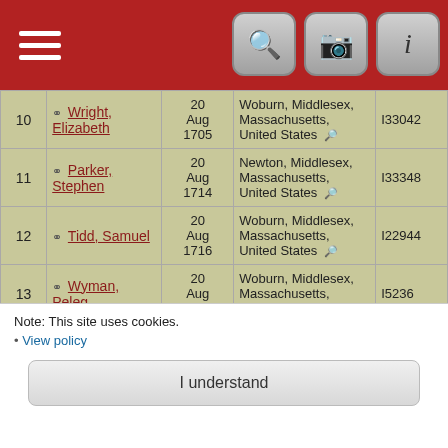Navigation header with menu, search, camera, and info icons
| # | Name | Date | Place | ID |
| --- | --- | --- | --- | --- |
| 10 | Wright, Elizabeth | 20 Aug 1705 | Woburn, Middlesex, Massachusetts, United States | I33042 |
| 11 | Parker, Stephen | 20 Aug 1714 | Newton, Middlesex, Massachusetts, United States | I33348 |
| 12 | Tidd, Samuel | 20 Aug 1716 | Woburn, Middlesex, Massachusetts, United States | I22944 |
| 13 | Wyman, Peleg | 20 Aug 1719 | Woburn, Middlesex, Massachusetts, United States | I5236 |
| 14 | Monroe, Lucy | 20 Aug 1720 | Lexington, Middlesex, Massachusetts, United States | I23363 |
| 15 | Tay, Ruth | 20 Aug 1736 | Woburn, Middlesex, Massachusetts, United States | I61060 |
Note: This site uses cookies.
• View policy
I understand